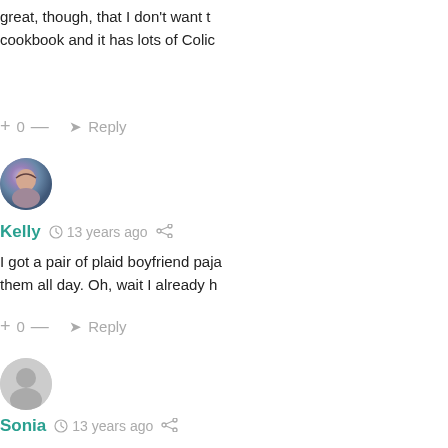great, though, that I don't want to cookbook and it has lots of Colic
+ 0 — ➜ Reply
[Figure (photo): Round avatar photo of user Kelly]
Kelly  13 years ago
I got a pair of plaid boyfriend paja them all day. Oh, wait I already h
+ 0 — ➜ Reply
[Figure (photo): Round avatar placeholder icon for user Sonia]
Sonia  13 years ago
I got a jewelry set of my birthsto really beautiful, unique set. I also computer called a miBook, that h gives you step by step instruction